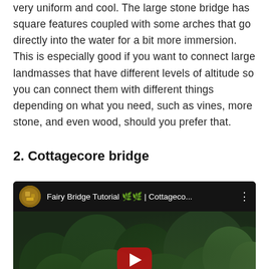very uniform and cool. The large stone bridge has square features coupled with some arches that go directly into the water for a bit more immersion. This is especially good if you want to connect large landmasses that have different levels of altitude so you can connect them with different things depending on what you need, such as vines, more stone, and even wood, should you prefer that.
2. Cottagecore bridge
[Figure (screenshot): YouTube video embed showing 'Fairy Bridge Tutorial 🌿 | Cottageco...' with a Minecraft landscape thumbnail featuring lush green trees and vegetation, a dark overlay, and a YouTube play button in the center.]